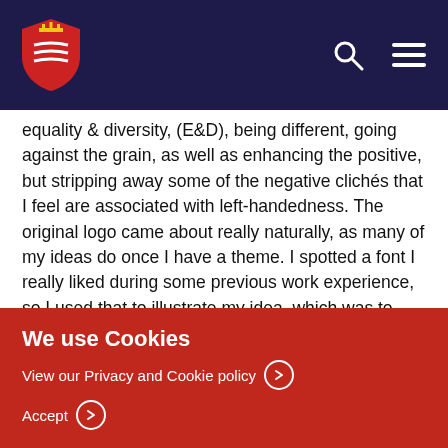University navigation header with shield logo, search icon, and menu icon
equality & diversity, (E&D), being different, going against the grain, as well as enhancing the positive, but stripping away some of the negative clichés that I feel are associated with left-handedness. The original logo came about really naturally, as many of my ideas do once I have a theme. I spotted a font I really liked during some previous work experience, so I used that to illustrate my idea, which was to break the word mancinism down into syllables, keeping them left-aligned. It turned out that the font style made it fit perfectly and the word "design" tessellated in an ideal way.
We use Cookies
View our Privacy and Cookie policy
Accept